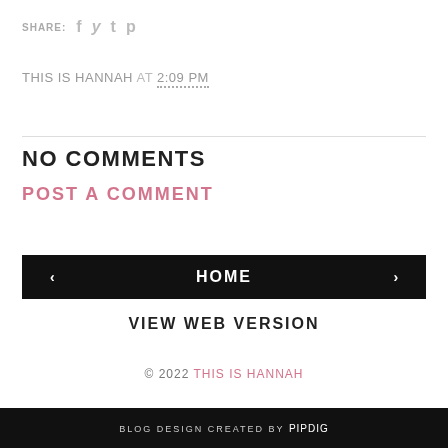SHARE: f t t p
THIS IS HANNAH AT 2:09 PM
NO COMMENTS
POST A COMMENT
‹  HOME  ›
VIEW WEB VERSION
© 2022 THIS IS HANNAH
BLOG DESIGN CREATED BY pipdig